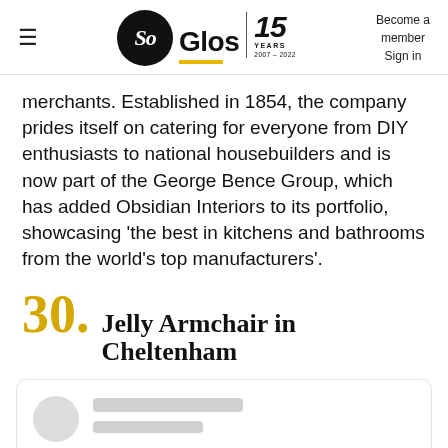SoGlos 15 YEARS 2007-2022 | Become a member | Sign in
merchants. Established in 1854, the company prides itself on catering for everyone from DIY enthusiasts to national housebuilders and is now part of the George Bence Group, which has added Obsidian Interiors to its portfolio, showcasing ‘the best in kitchens and bathrooms from the world’s top manufacturers’.
30. Jelly Armchair in Cheltenham
[Figure (other): Card placeholder with avatar circle and two grey lines representing a loading card UI element]